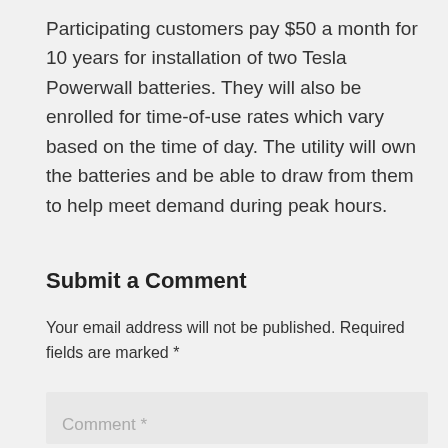Participating customers pay $50 a month for 10 years for installation of two Tesla Powerwall batteries. They will also be enrolled for time-of-use rates which vary based on the time of day. The utility will own the batteries and be able to draw from them to help meet demand during peak hours.
Submit a Comment
Your email address will not be published. Required fields are marked *
Comment *